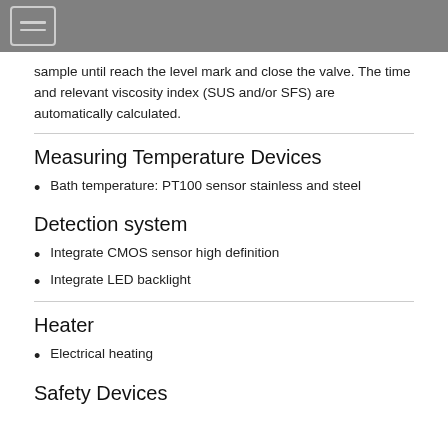sample until reach the level mark and close the valve. The time and relevant viscosity index (SUS and/or SFS) are automatically calculated.
Measuring Temperature Devices
Bath temperature: PT100 sensor stainless and steel
Detection system
Integrate CMOS sensor high definition
Integrate LED backlight
Heater
Electrical heating
Safety Devices